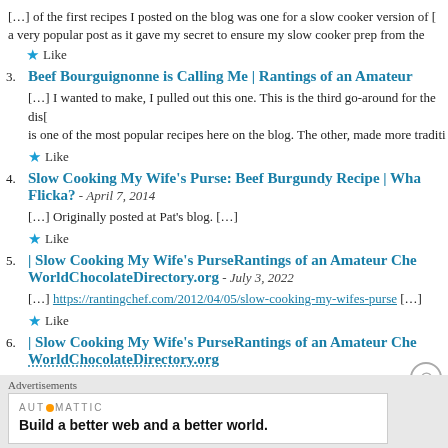[…] of the first recipes I posted on the blog was one for a slow cooker version of [ a very popular post as it gave my secret to ensure my slow cooker prep from the
Like
3. Beef Bourguignonne is Calling Me | Rantings of an Amateur
[…] I wanted to make, I pulled out this one. This is the third go-around for the dish is one of the most popular recipes here on the blog. The other, made more traditi
Like
4. Slow Cooking My Wife's Purse: Beef Burgundy Recipe | Wha Flicka? - April 7, 2014
[…] Originally posted at Pat's blog. […]
Like
5. | Slow Cooking My Wife's PurseRantings of an Amateur Che WorldChocolateDirectory.org - July 3, 2022
[…] https://rantingchef.com/2012/04/05/slow-cooking-my-wifes-purse […]
Like
6. | Slow Cooking My Wife's PurseRantings of an Amateur Che WorldChocolateDirectory.org
Advertisements
[Figure (other): Automattic advertisement: Build a better web and a better world.]